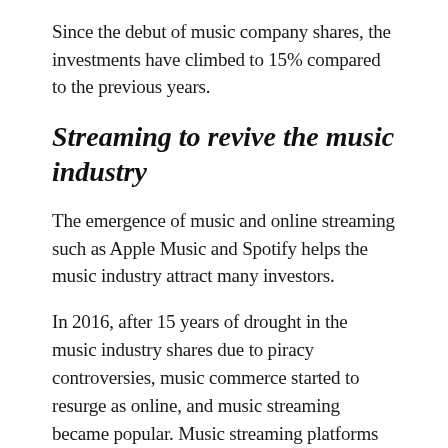Since the debut of music company shares, the investments have climbed to 15% compared to the previous years.
Streaming to revive the music industry
The emergence of music and online streaming such as Apple Music and Spotify helps the music industry attract many investors.
In 2016, after 15 years of drought in the music industry shares due to piracy controversies, music commerce started to resurge as online, and music streaming became popular. Music streaming platforms